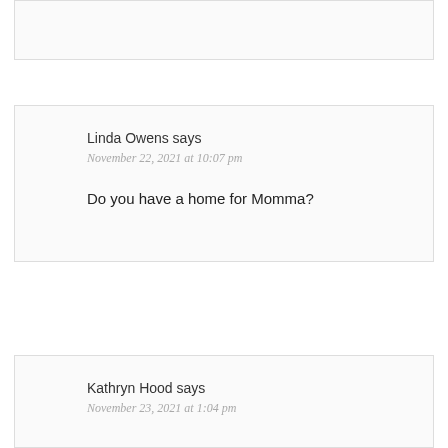Linda Owens says
November 22, 2021 at 10:07 pm

Do you have a home for Momma?
Kathryn Hood says
November 23, 2021 at 1:04 pm